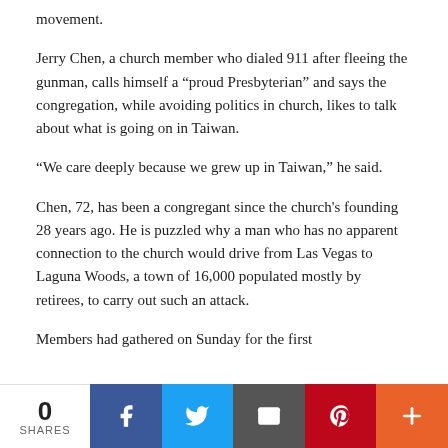movement.
Jerry Chen, a church member who dialed 911 after fleeing the gunman, calls himself a “proud Presbyterian” and says the congregation, while avoiding politics in church, likes to talk about what is going on in Taiwan.
“We care deeply because we grew up in Taiwan,” he said.
Chen, 72, has been a congregant since the church's founding 28 years ago. He is puzzled why a man who has no apparent connection to the church would drive from Las Vegas to Laguna Woods, a town of 16,000 populated mostly by retirees, to carry out such an attack.
Members had gathered on Sunday for the first